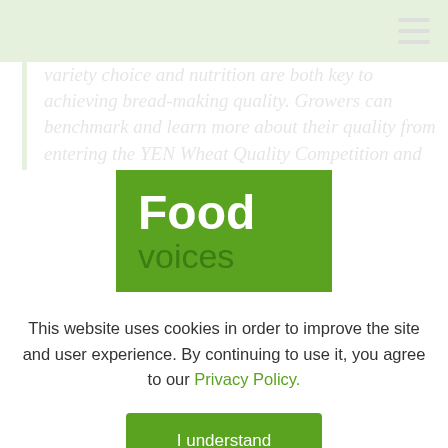[Figure (screenshot): Green top navigation bar with hamburger menu icon]
variety choice and nutrition are both key to achieving bread-making quality. Growers can benchmark and learn more about their quality from entering the YEN Wheat Quality Competition and could think about carrying out tramline trials for nutrition
[Figure (logo): Food voices logo — green rectangle with 'Food' in white bold text and 'voices' in dark green below]
This website uses cookies in order to improve the site and user experience. By continuing to use it, you agree to our Privacy Policy.